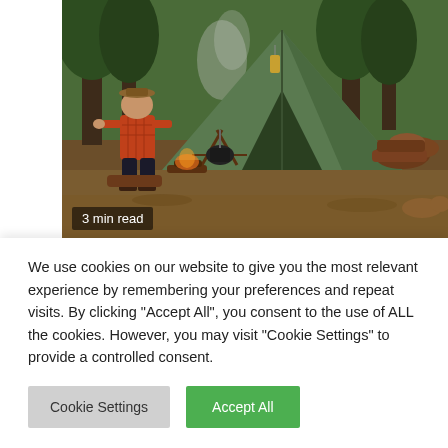[Figure (photo): A man in a red flannel shirt sitting near a campfire next to a green canvas tent in a forested woodland setting with logs and camping gear around]
3 min read
NEWS
How to Easily Plan the Perfect Guy's
We use cookies on our website to give you the most relevant experience by remembering your preferences and repeat visits. By clicking "Accept All", you consent to the use of ALL the cookies. However, you may visit "Cookie Settings" to provide a controlled consent.
Cookie Settings
Accept All